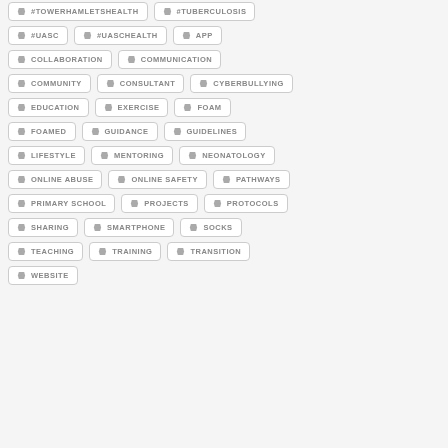#TOWERHAMLETSHEALTH
#TUBERCULOSIS
#UASC
#UASCHEALTH
APP
COLLABORATION
COMMUNICATION
COMMUNITY
CONSULTANT
CYBERBULLYING
EDUCATION
EXERCISE
FOAM
FOAMED
GUIDANCE
GUIDELINES
LIFESTYLE
MENTORING
NEONATOLOGY
ONLINE ABUSE
ONLINE SAFETY
PATHWAYS
PRIMARY SCHOOL
PROJECTS
PROTOCOLS
SHARING
SMARTPHONE
SOCKS
TEACHING
TRAINING
TRANSITION
WEBSITE